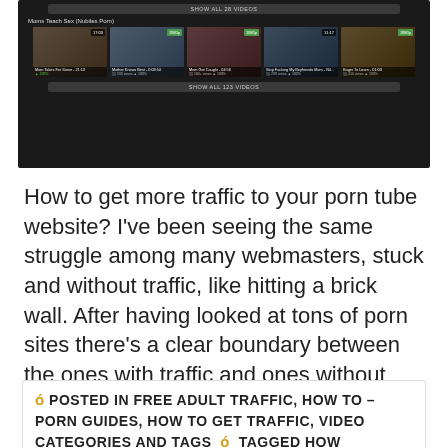[Figure (screenshot): Screenshot of a porn tube website showing video thumbnails in a dark-themed layout with category labels, video titles, stats, and 'SHOW ALL VIDEOS' buttons.]
How to get more traffic to your porn tube website? I've been seeing the same struggle among many webmasters, stuck and without traffic, like hitting a brick wall. After having looked at tons of porn sites there's a clear boundary between the ones with traffic and ones without categorizing the [...]
ó POSTED IN FREE ADULT TRAFFIC, HOW TO – PORN GUIDES, HOW TO GET TRAFFIC, VIDEO CATEGORIES AND TAGS  ó  TAGGED HOW TO,HOW TO GET FREE TRAFFIC,HOW TO GET